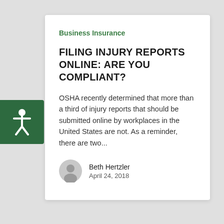Business Insurance
FILING INJURY REPORTS ONLINE: ARE YOU COMPLIANT?
OSHA recently determined that more than a third of injury reports that should be submitted online by workplaces in the United States are not. As a reminder, there are two...
Beth Hertzler
April 24, 2018